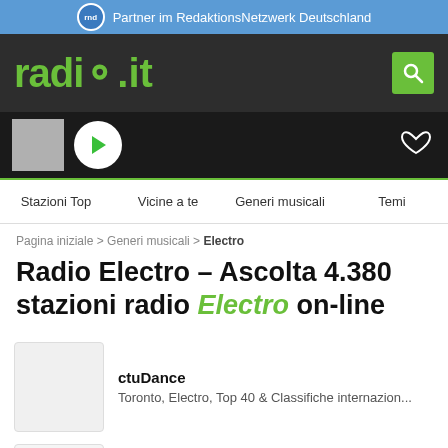Partner im RedaktionsNetzwerk Deutschland
[Figure (screenshot): radio.it website header with logo and search button]
[Figure (screenshot): Audio player bar with play button and heart/favorite icon]
Stazioni Top   Vicine a te   Generi musicali   Temi
Pagina iniziale > Generi musicali > Electro
Radio Electro – Ascolta 4.380 stazioni radio Electro on-line
ctuDance
Toronto, Electro, Top 40 & Classifiche internazion...